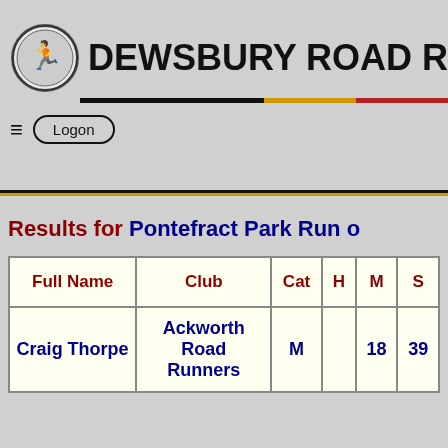DEWSBURY ROAD R
Logon
Results for Pontefract Park Run o
| Full Name | Club | Cat | H | M | S |
| --- | --- | --- | --- | --- | --- |
| Craig Thorpe | Ackworth Road Runners | M |  | 18 | 39 |